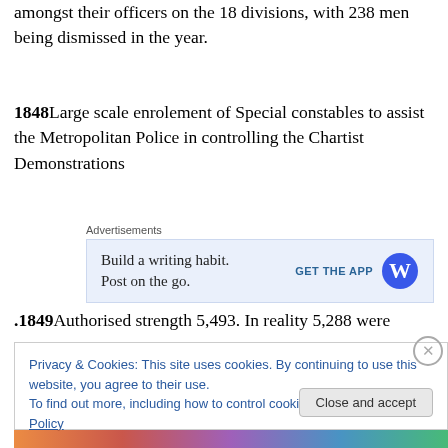amongst their officers on the 18 divisions, with 238 men being dismissed in the year.
1848 Large scale enrolement of Special constables to assist the Metropolitan Police in controlling the Chartist Demonstrations
[Figure (screenshot): Advertisement banner: 'Build a writing habit. Post on the go.' with GET THE APP button and WordPress logo on light blue background]
.1849 Authorised strength 5,493. In reality 5,288 were
Privacy & Cookies: This site uses cookies. By continuing to use this website, you agree to their use. To find out more, including how to control cookies, see here: Cookie Policy
Close and accept